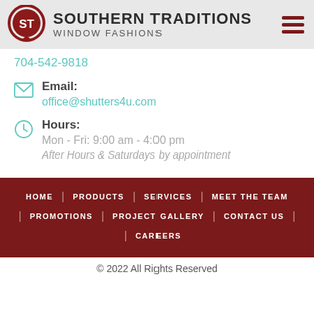SOUTHERN TRADITIONS Window Fashions
704-542-9818
Email: office@shutters4u.com
Hours: Mon - Fri: 9:00 am - 4:00 pm
After Hours & Saturdays by appointment
HOME | PRODUCTS | SERVICES | MEET THE TEAM | PROMOTIONS | PROJECT GALLERY | CONTACT US | CAREERS
© 2022 All Rights Reserved